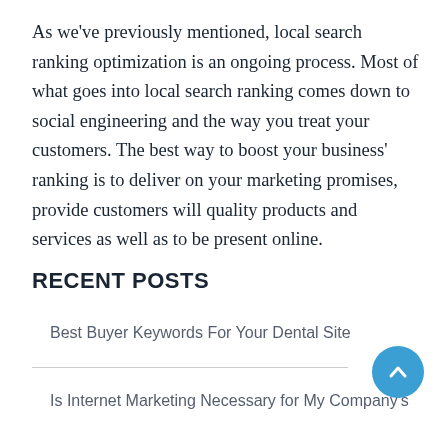As we've previously mentioned, local search ranking optimization is an ongoing process. Most of what goes into local search ranking comes down to social engineering and the way you treat your customers. The best way to boost your business' ranking is to deliver on your marketing promises, provide customers will quality products and services as well as to be present online.
RECENT POSTS
Best Buyer Keywords For Your Dental Site
Is Internet Marketing Necessary for My Company's